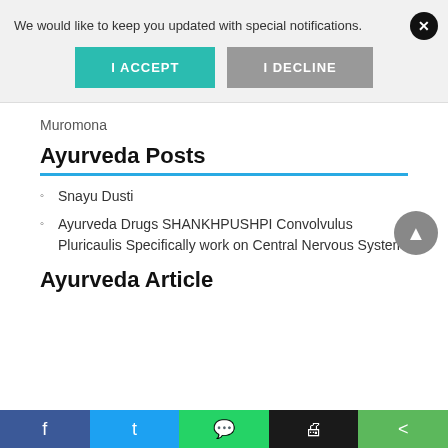We would like to keep you updated with special notifications.
I ACCEPT
I DECLINE
Muromona
Ayurveda Posts
Snayu Dusti
Ayurveda Drugs SHANKHPUSHPI Convolvulus Pluricaulis Specifically work on Central Nervous System
Ayurveda Article